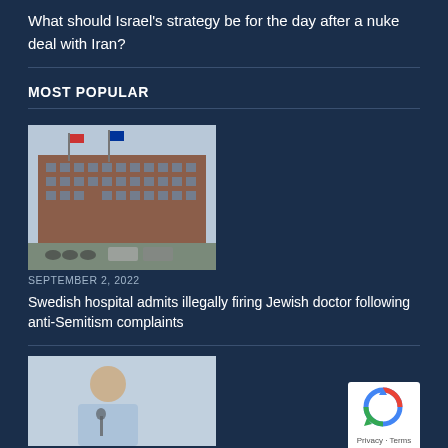What should Israel's strategy be for the day after a nuke deal with Iran?
MOST POPULAR
[Figure (photo): A large brick building with flags in front, vehicles and bicycles parked outside — appears to be a Swedish hospital or government building]
SEPTEMBER 2, 2022
Swedish hospital admits illegally firing Jewish doctor following anti-Semitism complaints
[Figure (photo): A man speaking at a microphone, wearing a light blue shirt]
[Figure (other): Google reCAPTCHA badge with Privacy and Terms links]